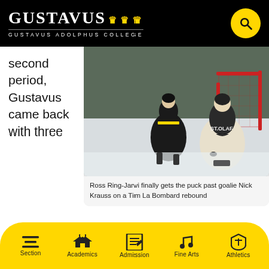GUSTAVUS | GUSTAVUS ADOLPHUS COLLEGE
second period, Gustavus came back with three
[Figure (photo): Hockey action photo: Ross Ring-Jarvi scores past goalie Nick Krauss on a Tim La Bombard rebound. Players in St. Olaf jerseys near the goal net on ice.]
Ross Ring-Jarvi finally gets the puck past goalie Nick Krauss on a Tim La Bombard rebound
unanswered goals in the third, yet it would be too little too late as the Gusties fell 4-3 to St. Olaf on Friday night in St. Peter, Minn.  St. Olaf goaltender Nick Krauss was lights out for the majority of the game, making 37 saves on the way to his fourth win of the season.  The Gusties
Section | Academics | Admission | Fine Arts | Athletics